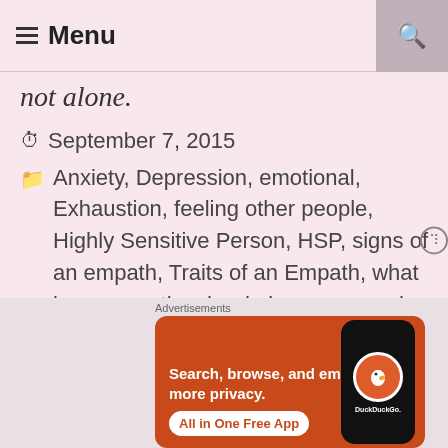≡ Menu
not alone.
September 7, 2015
Anxiety, Depression, emotional, Exhaustion, feeling other people, Highly Sensitive Person, HSP, signs of an empath, Traits of an Empath, what is an empath, who do i care so much about others
Anxiety, Depression, Exhaustion, feeling
[Figure (screenshot): DuckDuckGo advertisement banner with orange background showing 'Search, browse, and email with more privacy. All in One Free App' with a phone showing the DuckDuckGo logo]